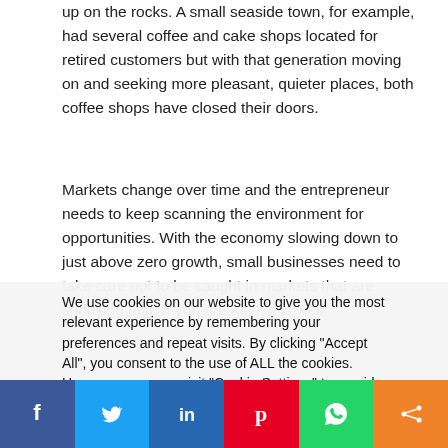up on the rocks. A small seaside town, for example, had several coffee and cake shops located for retired customers but with that generation moving on and seeking more pleasant, quieter places, both coffee shops have closed their doors.
Markets change over time and the entrepreneur needs to keep scanning the environment for opportunities. With the economy slowing down to just above zero growth, small businesses need to take care not to be caught in markets that are shrinking fast. If you are able, it is well
We use cookies on our website to give you the most relevant experience by remembering your preferences and repeat visits. By clicking "Accept All", you consent to the use of ALL the cookies. However, you may visit "Cookie Settings" to provide a controlled consent.
[Figure (other): Cookie consent buttons: 'Cookie Settings' (grey rounded) and 'Accept All' (green rounded)]
[Figure (other): Social media sharing bar with icons for Facebook (blue), Twitter (light blue), LinkedIn (dark blue), Pinterest (red), WhatsApp (green), Share (orange)]